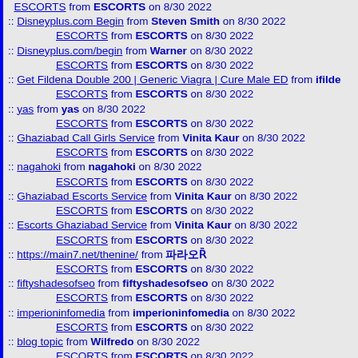ESCORTS from ESCORTS on 8/30 2022
Disneyplus.com Begin from Steven Smith on 8/30 2022 / ESCORTS from ESCORTS on 8/30 2022
Disneyplus.com/begin from Warner on 8/30 2022 / ESCORTS from ESCORTS on 8/30 2022
Get Fildena Double 200 | Generic Viagra | Cure Male ED from ifilde... / ESCORTS from ESCORTS on 8/30 2022
yas from yas on 8/30 2022 / ESCORTS from ESCORTS on 8/30 2022
Ghaziabad Call Girls Service from Vinita Kaur on 8/30 2022 / ESCORTS from ESCORTS on 8/30 2022
nagahoki from nagahoki on 8/30 2022 / ESCORTS from ESCORTS on 8/30 2022
Ghaziabad Escorts Service from Vinita Kaur on 8/30 2022 / ESCORTS from ESCORTS on 8/30 2022
Escorts Ghaziabad Service from Vinita Kaur on 8/30 2022 / ESCORTS from ESCORTS on 8/30 2022
https://main7.net/thenine/ from &#54028;&#46972;&#50724;&#528... / ESCORTS from ESCORTS on 8/30 2022
fiftyshadesofseo from fiftyshadesofseo on 8/30 2022 / ESCORTS from ESCORTS on 8/30 2022
imperioninfomedia from imperioninfomedia on 8/30 2022 / ESCORTS from ESCORTS on 8/30 2022
blog topic from Wilfredo on 8/30 2022 / ESCORTS from ESCORTS on 8/30 2022
Islamabad escorts from Islamabad escorts on 8/30 2022 / ESCORTS from ESCORTS on 8/30 2022
Sophia from Sophia on 8/30 2022 / ESCORTS from ESCORTS on 8/30 2022
Julia from Julia on 8/30 2022